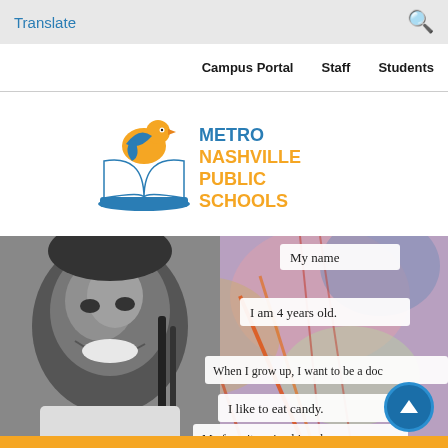Translate  [search icon]
Campus Portal   Staff   Students
[Figure (logo): Metro Nashville Public Schools logo — a bird and leaf over an open book, with orange/yellow/blue colors, alongside text METRO NASHVILLE PUBLIC SCHOOLS in teal and orange]
[Figure (photo): A smiling young Black child (black and white photo) against a colorful background with paper strips showing sentences: My name, I am 4 years old., When I grow up, I want to be a doc, I like to eat candy., My favorite animal is a dog.]